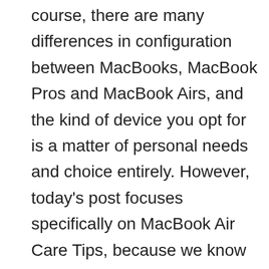course, there are many differences in configuration between MacBooks, MacBook Pros and MacBook Airs, and the kind of device you opt for is a matter of personal needs and choice entirely. However, today's post focuses specifically on MacBook Air Care Tips, because we know that owners of these laptops often wonder what they can do to enhance their usage experience and get the most out of their device. We address issues that have to do with battery life and charger efficiency, so, if you own a MacBook Air, you definitely need to read on, for a better laptop that will last you longer.
Do you know how many sleep modes your sleek, lightweight MacBook Air comes with? If you're not